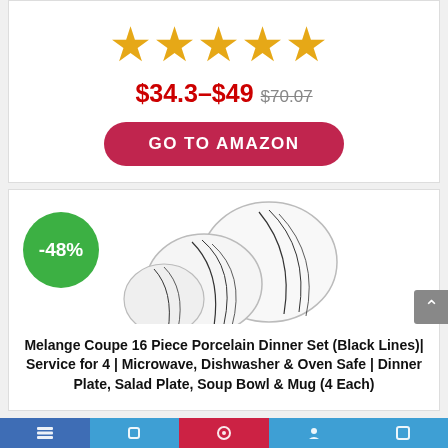[Figure (infographic): Five orange star rating icons in a row]
$34.3–$49  $70.07 (strikethrough)
GO TO AMAZON
[Figure (photo): Discount badge -48% (green circle) and product image of white porcelain dinner set with black line design]
Melange Coupe 16 Piece Porcelain Dinner Set (Black Lines)| Service for 4 | Microwave, Dishwasher & Oven Safe | Dinner Plate, Salad Plate, Soup Bowl & Mug (4 Each)